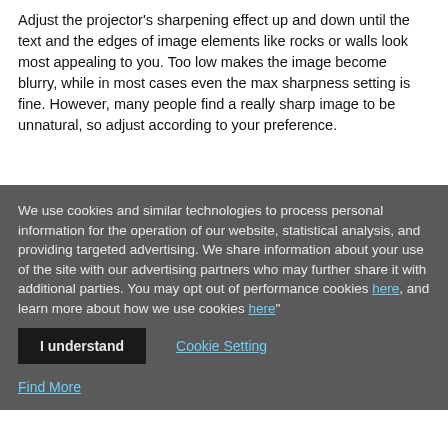Adjust the projector's sharpening effect up and down until the text and the edges of image elements like rocks or walls look most appealing to you. Too low makes the image become blurry, while in most cases even the max sharpness setting is fine. However, many people find a really sharp image to be unnatural, so adjust according to your preference.
We use cookies and similar technologies to process personal information for the operation of our website, statistical analysis, and providing targeted advertising. We share information about your use of the site with our advertising partners who may further share it with additional parties. You may opt out of performance cookies here, and learn more about how we use cookies here"
I understand | Cookie Setting
Find More